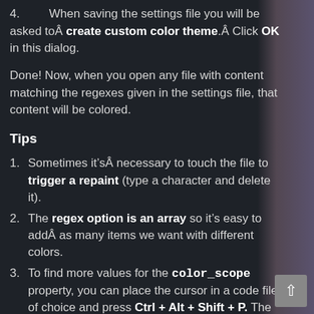4. When saving the settings file you will be asked toÂ create custom color theme.Â Click OK in this dialog.
Done! Now, when you open any file with content matching the regexes given in the settings file, that content will be colored.
Tips
1. Sometimes it’sÂ necessary to touch the file to trigger a repaint (type a character and delete it).
2. The regex option is an array so it’s easy to addÂ as many items we want with different colors.
3. To find more values for the color_scope property, you can place the cursor in a code file of choice and press Ctrl + Alt + Shift + P. The current scope is then displayed in the status bar. However it’s probably easier to just use the color property instead and set the wanted color directly.